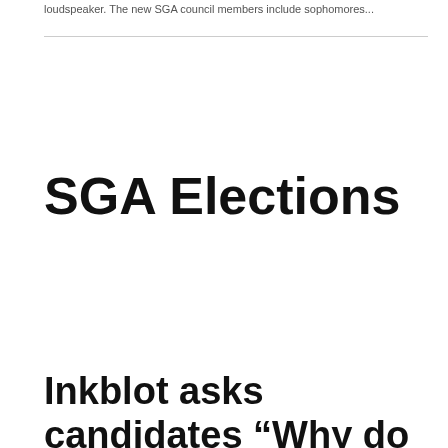loudspeaker. The new SGA council members include sophomores...
SGA Elections
Inkblot asks candidates “Why do you want to run for SGA?”